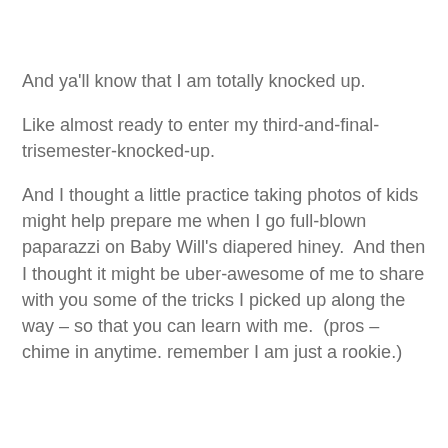And ya'll know that I am totally knocked up.
Like almost ready to enter my third-and-final-trisemester-knocked-up.
And I thought a little practice taking photos of kids might help prepare me when I go full-blown paparazzi on Baby Will's diapered hiney.  And then I thought it might be uber-awesome of me to share with you some of the tricks I picked up along the way – so that you can learn with me.  (pros – chime in anytime. remember I am just a rookie.)